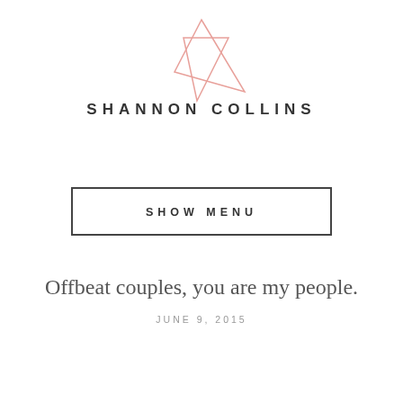[Figure (logo): Shannon Collins logo with two overlapping rose/salmon colored triangle outlines above the name text]
SHANNON COLLINS
[Figure (other): SHOW MENU button with rectangular border]
Offbeat couples, you are my people.
JUNE 9, 2015
[Figure (photo): Black and white photograph of a couple with foreheads touching, one in a suit, one with short hair, intimate close-up portrait]